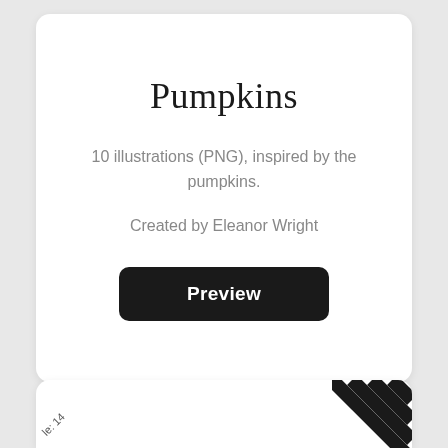Pumpkins
10 illustrations (PNG), inspired by the pumpkins.
Created by Eleanor Wright
Preview